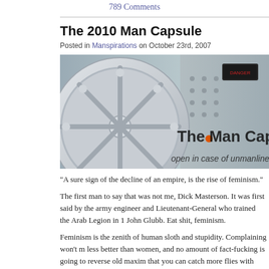789 Comments
The 2010 Man Capsule
Posted in Manspirations on October 23rd, 2007
[Figure (photo): Banner image of a mechanical wheel/hatch with text overlay reading 'The Man Capsule - open in case of unmanliness']
“A sure sign of the decline of an empire, is the rise of feminism.”
The first man to say that was not me, Dick Masterson. It was first said by the army engineer and Lieutenant-General who trained the Arab Legion in 1 John Glubb. Eat shit, feminism.
Feminism is the zenith of human sloth and stupidity. Complaining won’t m less better than women, and no amount of fact-fucking is going to reverse old maxim that you can catch more flies with honey than with a shrill and o dogma. Feminism can take out its own garbage before barbecue sauce